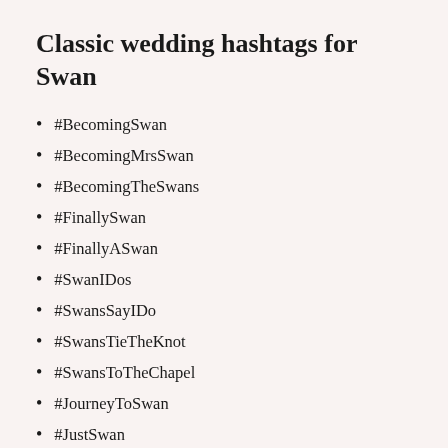Classic wedding hashtags for Swan
#BecomingSwan
#BecomingMrsSwan
#BecomingTheSwans
#FinallySwan
#FinallyASwan
#SwanIDos
#SwansSayIDo
#SwansTieTheKnot
#SwansToTheChapel
#JourneyToSwan
#JustSwan
#JustTheSwans